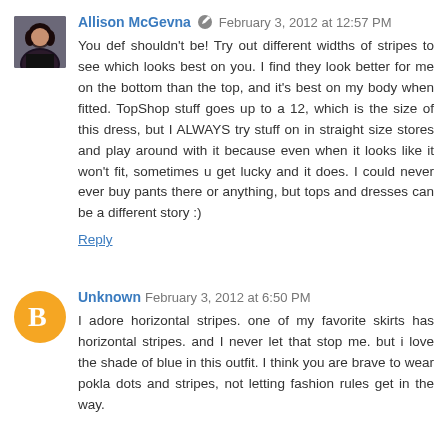[Figure (photo): Profile photo of Allison McGevna, a woman with dark hair]
Allison McGevna  February 3, 2012 at 12:57 PM
You def shouldn't be! Try out different widths of stripes to see which looks best on you. I find they look better for me on the bottom than the top, and it's best on my body when fitted. TopShop stuff goes up to a 12, which is the size of this dress, but I ALWAYS try stuff on in straight size stores and play around with it because even when it looks like it won't fit, sometimes u get lucky and it does. I could never ever buy pants there or anything, but tops and dresses can be a different story :)
Reply
[Figure (logo): Blogger 'B' logo icon in orange circle]
Unknown  February 3, 2012 at 6:50 PM
I adore horizontal stripes. one of my favorite skirts has horizontal stripes. and I never let that stop me. but i love the shade of blue in this outfit. I think you are brave to wear pokla dots and stripes, not letting fashion rules get in the way.